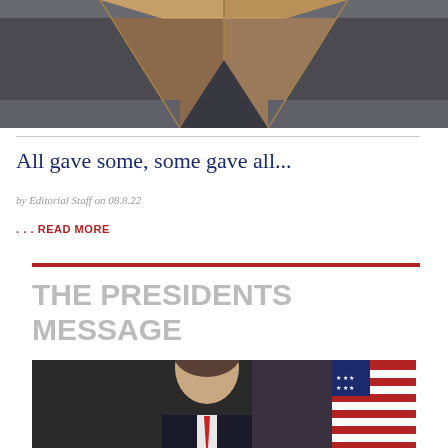[Figure (photo): Close-up photo of the 9/11 Memorial reflecting pool — dark granite with bronze panel edges at the corner, shot from above looking down into the pool]
All gave some, some gave all...
by Editorial Staff on 08.8.22
. . . READ MORE
THE PRESIDENTS MESSAGE
[Figure (photo): Portrait photo of a man in a suit with an American flag behind him]